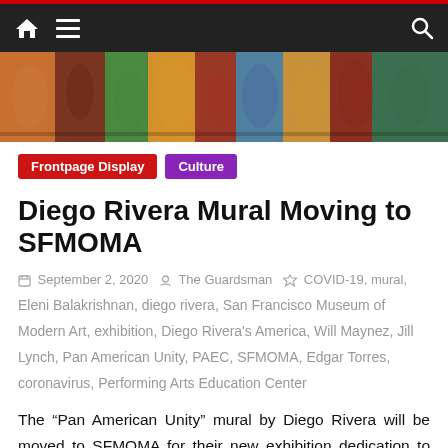Navigation bar with home, menu, and search icons
[Figure (photo): Colorful mural banner image spanning full width, depicting vibrant figures and scenes from Diego Rivera's Pan American Unity mural]
Frontpage Display
Culture
Diego Rivera Mural Moving to SFMOMA
September 2, 2020   The Guardsman   COVID-19, mural, Eleni Balakrishnan, diego rivera, San Francisco Museum of Modern Art, exhibition, Diego Rivera's America, Will Maynez, Jill Lynch, Pan American Unity, PAEC, SFMOMA, Edgar Torres, coronavirus, Performing Arts Education Center
The “Pan American Unity” mural by Diego Rivera will be moved to SFMOMA for their new exhibition dedication to Rivera called “Diego Rivera’s America”. Rivera’s mural is remembered as a very historical piece of City College